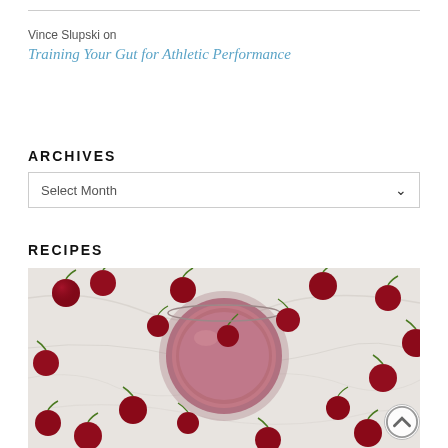Vince Slupski on
Training Your Gut for Athletic Performance
ARCHIVES
Select Month
RECIPES
[Figure (photo): Overhead photo of a cherry smoothie in a glass surrounded by fresh red cherries on a marble surface]